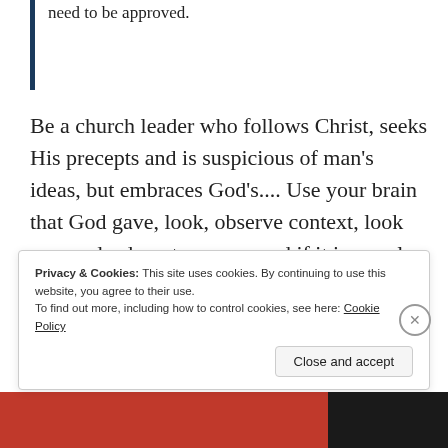need to be approved.
Be a church leader who follows Christ, seeks His precepts and is suspicious of man's ideas, but embraces God's.... Use your brain that God gave, look, observe context, look up words, do not assume, and if it is popular it may be wrong! Do not rest in pride, rather rest in Christ!
Privacy & Cookies: This site uses cookies. By continuing to use this website, you agree to their use. To find out more, including how to control cookies, see here: Cookie Policy
Close and accept